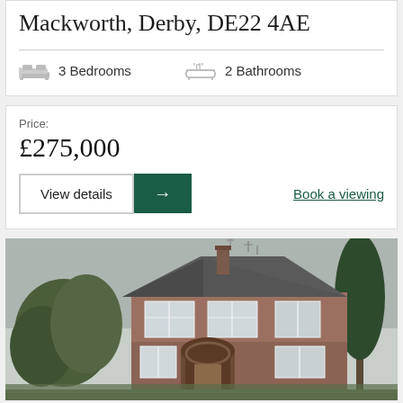Mackworth, Derby, DE22 4AE
3 Bedrooms    2 Bathrooms
Price:
£275,000
View details  →  Book a viewing
[Figure (photo): Front exterior photo of a two-storey red brick semi-detached house with white windows, arched porch entrance, grey roof, TV aerials, and trees on either side, under an overcast sky.]